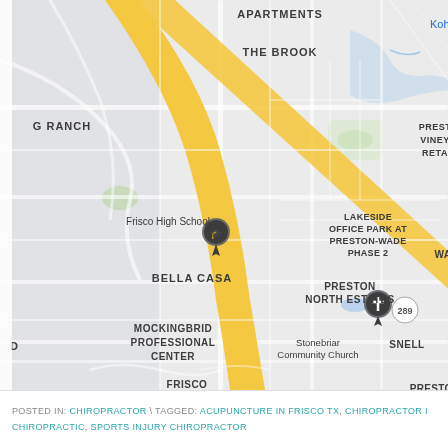[Figure (map): Google Maps screenshot showing Frisco, TX area with labels: APARTMENTS, THE BROOK, Kohl's, G RANCH, Frisco High School (with pin), PREST VINEY RETA, BELLA CASA, LAKESIDE OFFICE PARK AT PRESTON-WADE PHASE 2, WA, MOCKINGBRID PROFESSIONAL CENTER, PRESTON NORTH ESTATES, D, FRISCO APARTMENTS, Stonebriar Community Church (with cross pin), SNELL, 289 road marker, PRESTON LEBAN, STONE MANOR APARTMENTS, n Rd, WILLOW POND, SM, CHANDLER. A yellow diagonal road runs through the center-left portion.]
POSTED IN: CHIROPRACTOR \ TAGGED: ACUPUNCTURE IN FRISCO TX, CHIROPRACTOR I CHIROPRACTIC, SPORTS INJURY CHIROPRACTOR